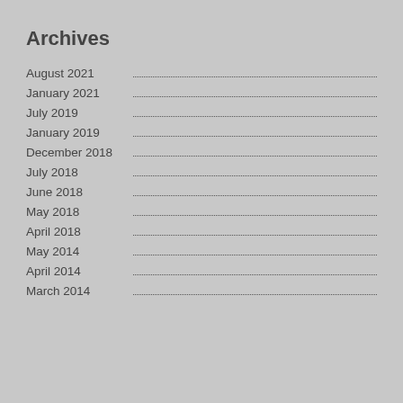Archives
August 2021
January 2021
July 2019
January 2019
December 2018
July 2018
June 2018
May 2018
April 2018
May 2014
April 2014
March 2014